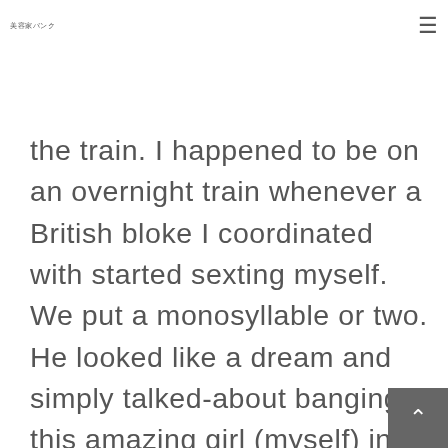美容家バンク
the train. I happened to be on an overnight train whenever a British bloke I coordinated with started sexting myself. We put a monosyllable or two. He looked like a dream and simply talked-about banging this amazing girl (myself) in a variety of locations around European countries. As he stored writing, I happened to be conversing with a Gujarati family about mukhvas, theplas, etc. The guy held including hyperlinks to his photographs on Facebook. We checked each one.